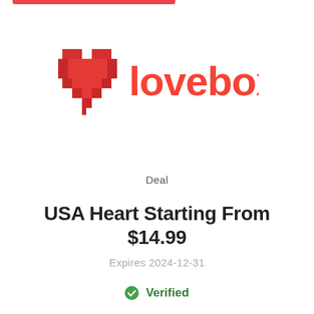[Figure (logo): Lovebox logo with pixelated red heart icon and orange-red 'lovebox' wordmark]
Deal
USA Heart Starting From $14.99
Expires 2024-12-31
✓ Verified